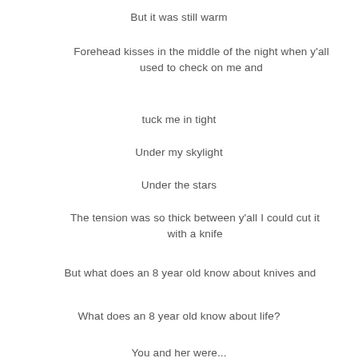But it was still warm
Forehead kisses in the middle of the night when y'all used to check on me and
tuck me in tight
Under my skylight
Under the stars
The tension was so thick between y'all I could cut it with a knife
But what does an 8 year old know about knives and
What does an 8 year old know about life?
You and her were...